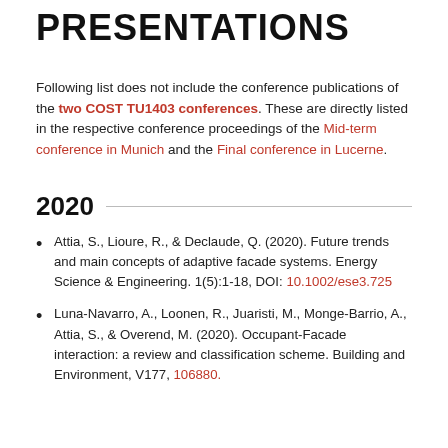PRESENTATIONS
Following list does not include the conference publications of the two COST TU1403 conferences. These are directly listed in the respective conference proceedings of the Mid-term conference in Munich and the Final conference in Lucerne.
2020
Attia, S., Lioure, R., & Declaude, Q. (2020). Future trends and main concepts of adaptive facade systems. Energy Science & Engineering. 1(5):1-18, DOI: 10.1002/ese3.725
Luna-Navarro, A., Loonen, R., Juaristi, M., Monge-Barrio, A., Attia, S., & Overend, M. (2020). Occupant-Facade interaction: a review and classification scheme. Building and Environment, V177, 106880.